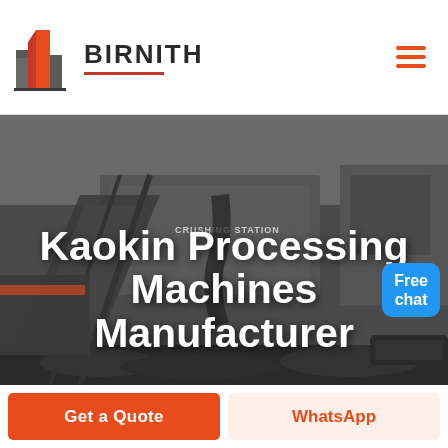[Figure (logo): Birnith company logo: orange and grey building/skyscraper icon with BIRNITH brand name and red underline]
[Figure (photo): Industrial crushing station machinery with conveyor belts and coal/rock aggregate, dark moody industrial photo background with 'CRUSHING STATION' text visible on equipment, and a customer service representative figure in upper right corner]
Kaokin Processing Machines Manufacturer
Free chat
Get a Quote
WhatsApp